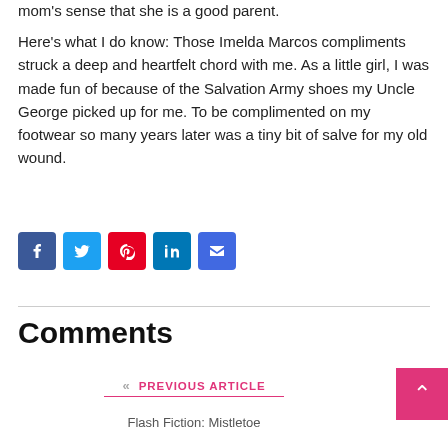mom's sense that she is a good parent.
Here's what I do know: Those Imelda Marcos compliments struck a deep and heartfelt chord with me. As a little girl, I was made fun of because of the Salvation Army shoes my Uncle George picked up for me. To be complimented on my footwear so many years later was a tiny bit of salve for my old wound.
[Figure (infographic): Social sharing icons row: Facebook (blue), Twitter (light blue), Pinterest (red), LinkedIn (blue), Email (blue)]
Comments
« PREVIOUS ARTICLE / Flash Fiction: Mistletoe